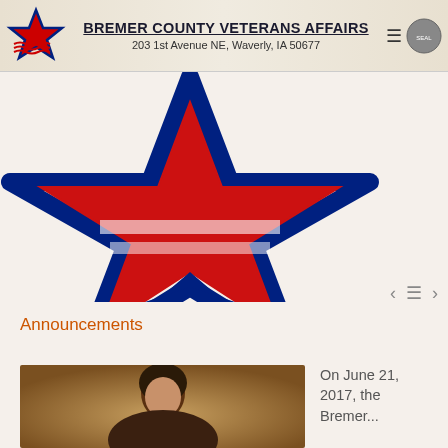BREMER COUNTY VETERANS AFFAIRS
203 1st Avenue NE, Waverly, IA 50677
[Figure (illustration): Large red and blue patriotic star logo with stripes, the emblem of Bremer County Veterans Affairs]
Announcements
[Figure (photo): Portrait photo of a woman with dark hair against a warm brown/gold blurred background]
On June 21, 2017, the Bremer...